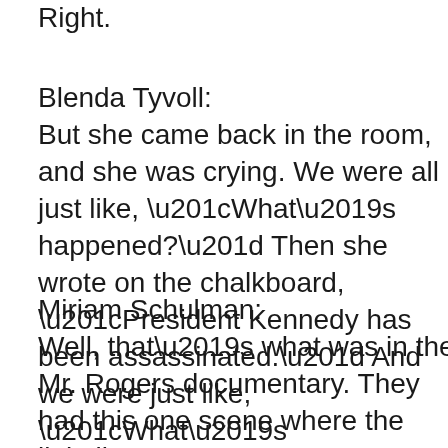Right.
Blenda Tyvoll:
But she came back in the room, and she was crying. We were all just like, “What’s happened?” Then she wrote on the chalkboard, “President Kennedy has been assassinated.” And we were just like, “What’s assassination?” We didn’t know what that was.
Miriam Schulman:
Well, that’s what was in the Mr. Rogers documentary. They had this one scene where the little lion puppet comes out